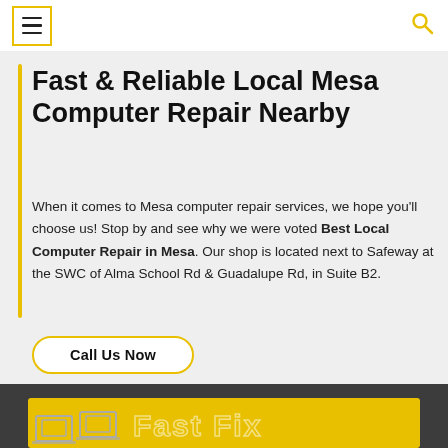☰ [menu] | [search icon]
Fast & Reliable Local Mesa Computer Repair Nearby
When it comes to Mesa computer repair services, we hope you'll choose us! Stop by and see why we were voted Best Local Computer Repair in Mesa. Our shop is located next to Safeway at the SWC of Alma School Rd & Guadalupe Rd, in Suite B2.
Call Us Now
[Figure (illustration): Yellow banner with white outline icons and text, partially visible at bottom of page — appears to be a logo or promotional banner for Fast Fix computer repair service]